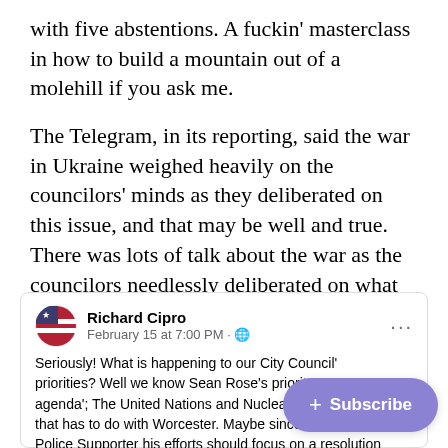with five abstentions. A fuckin' masterclass in how to build a mountain out of a molehill if you ask me.
The Telegram, in its reporting, said the war in Ukraine weighed heavily on the councilors' minds as they deliberated on this issue, and that may be well and true. There was lots of talk about the war as the councilors needlessly deliberated on what should have been a routine formality. But the Telegram missed a bit of context which makes the whole thing even more petty and obnoxious. Enter: Rick Cipro.
[Figure (screenshot): Facebook post by Richard Cipro dated February 15 at 7:00 PM. Post text begins: 'Seriously! What is happening to our City Council's priorities? Well we know Sean Rose's priority agenda'; The United Nations and Nuclear We[apons] that has to do with Worcester. Maybe since he [is a] Police Supporter his efforts should focus on a resolution funding'. A purple Subscribe button overlays the lower right of the post.]